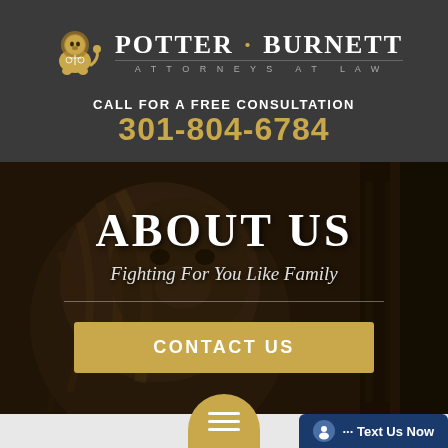POTTER · BURNETT ATTORNEYS AT LAW
CALL FOR A FREE CONSULTATION
301-804-6784
[Figure (photo): Dark moody photo of a stone lion sculpture used as hero background image]
ABOUT US
Fighting For You Like Family
CONTACT US
··· Text Us Now